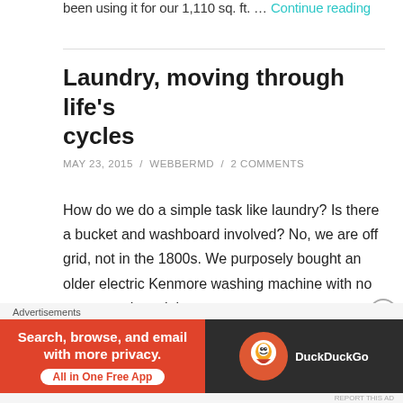been using it for our 1,110 sq. ft. … Continue reading
Laundry, moving through life's cycles
MAY 23, 2015 / WEBBERMD / 2 COMMENTS
How do we do a simple task like laundry? Is there a bucket and washboard involved? No, we are off grid, not in the 1800s. We purposely bought an older electric Kenmore washing machine with no computer, just plain
[Figure (screenshot): DuckDuckGo advertisement banner: 'Search, browse, and email with more privacy. All in One Free App' with DuckDuckGo logo on dark background]